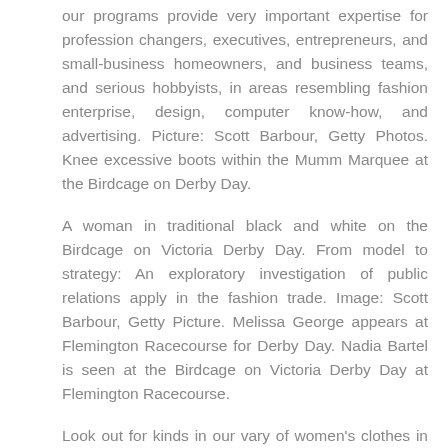our programs provide very important expertise for profession changers, executives, entrepreneurs, and small-business homeowners, and business teams, and serious hobbyists, in areas resembling fashion enterprise, design, computer know-how, and advertising. Picture: Scott Barbour, Getty Photos. Knee excessive boots within the Mumm Marquee at the Birdcage on Derby Day.
A woman in traditional black and white on the Birdcage on Victoria Derby Day. From model to strategy: An exploratory investigation of public relations apply in the fashion trade. Image: Scott Barbour, Getty Picture. Melissa George appears at Flemington Racecourse for Derby Day. Nadia Bartel is seen at the Birdcage on Victoria Derby Day at Flemington Racecourse.
Look out for kinds in our vary of women's clothes in sudden finishes, and then layer them up. Take a patent